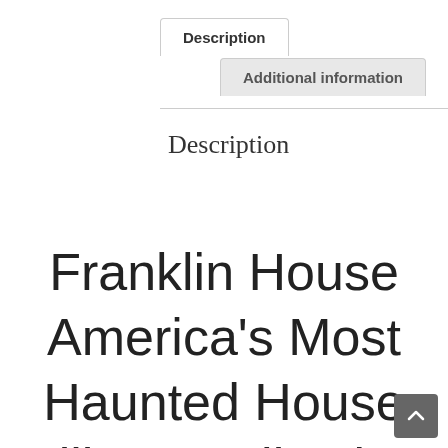Description
Additional information
Description
Franklin House America's Most Haunted House Village Collection